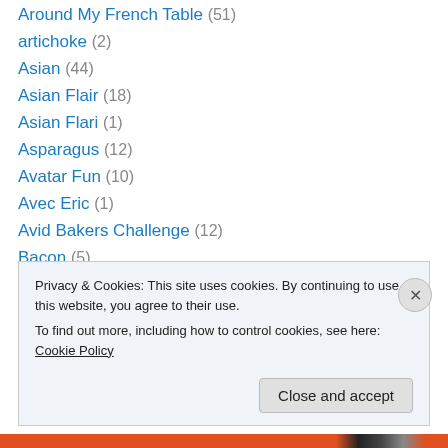Around My French Table (51)
artichoke (2)
Asian (44)
Asian Flair (18)
Asian Flari (1)
Asparagus (12)
Avatar Fun (10)
Avec Eric (1)
Avid Bakers Challenge (12)
Bacon (5)
Privacy & Cookies: This site uses cookies. By continuing to use this website, you agree to their use.
To find out more, including how to control cookies, see here: Cookie Policy
Close and accept